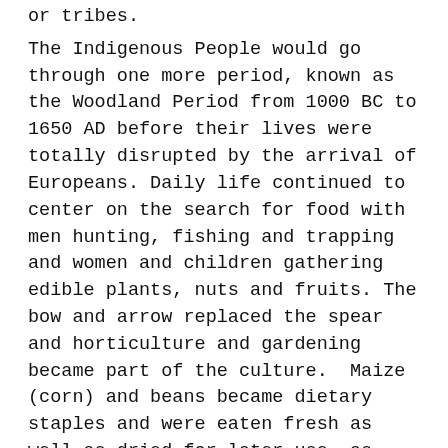or tribes.
The Indigenous People would go through one more period, known as the Woodland Period from 1000 BC to 1650 AD before their lives were totally disrupted by the arrival of Europeans. Daily life continued to center on the search for food with men hunting, fishing and trapping and women and children gathering edible plants, nuts and fruits. The bow and arrow replaced the spear and horticulture and gardening became part of the culture.  Maize (corn) and beans became dietary staples and were eaten fresh as well as dried for later use, as were squash, pumpkin, meat fish, fruit and nuts. Woodland People were eating better and living longer, still primarily in family units. They did not have chiefs, but made decisions by discussion and mutual agreement.  They had no concept of